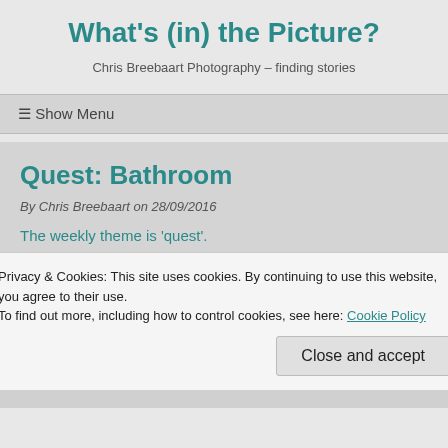What's (in) the Picture?
Chris Breebaart Photography – finding stories
☰ Show Menu
Quest: Bathroom
By Chris Breebaart on 28/09/2016
The weekly theme is 'quest'.
The quest for a new bathroom ended. The build itself went
Privacy & Cookies: This site uses cookies. By continuing to use this website, you agree to their use.
To find out more, including how to control cookies, see here: Cookie Policy
Close and accept